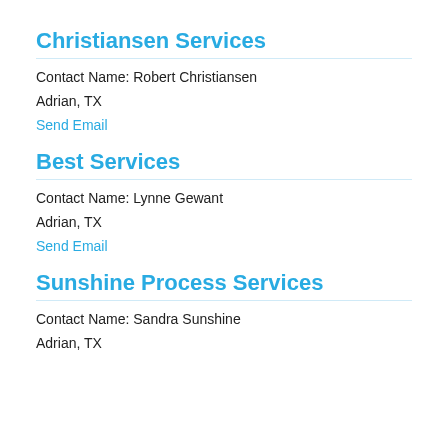Christiansen Services
Contact Name: Robert Christiansen
Adrian, TX
Send Email
Best Services
Contact Name: Lynne Gewant
Adrian, TX
Send Email
Sunshine Process Services
Contact Name: Sandra Sunshine
Adrian, TX